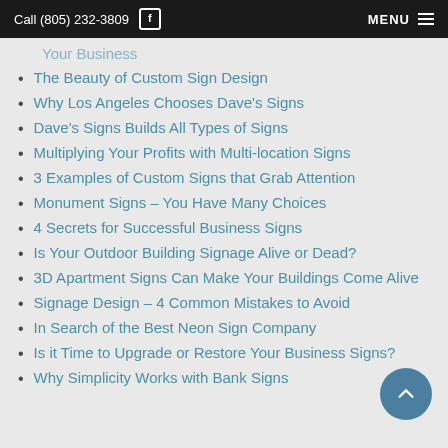Call (805) 232-3809   MENU
Your Business
The Beauty of Custom Sign Design
Why Los Angeles Chooses Dave's Signs
Dave's Signs Builds All Types of Signs
Multiplying Your Profits with Multi-location Signs
3 Examples of Custom Signs that Grab Attention
Monument Signs – You Have Many Choices
4 Secrets for Successful Business Signs
Is Your Outdoor Building Signage Alive or Dead?
3D Apartment Signs Can Make Your Buildings Come Alive
Signage Design – 4 Common Mistakes to Avoid
In Search of the Best Neon Sign Company
Is it Time to Upgrade or Restore Your Business Signs?
Why Simplicity Works with Bank Signs